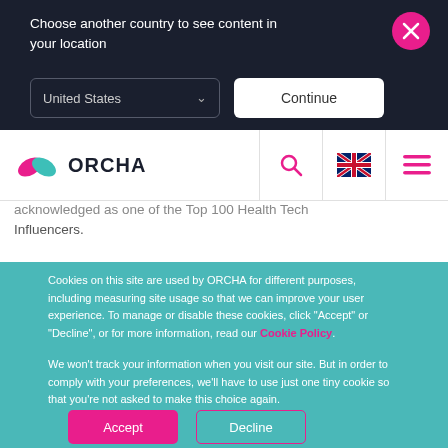Choose another country to see content in your location
United States
Continue
[Figure (logo): ORCHA logo with pink and teal leaf shapes and dark blue ORCHA text]
acknowledged as one of the Top 100 Health Tech Influencers.
Cookies on this site are used by ORCHA for different purposes, including measuring site usage so that we can improve your user experience. To manage or disable these cookies, click "Accept" or "Decline", or for more information, read our Cookie Policy.
We won’t track your information when you visit our site. But in order to comply with your preferences, we’ll have to use just one tiny cookie so that you’re not asked to make this choice again.
Accept
Decline